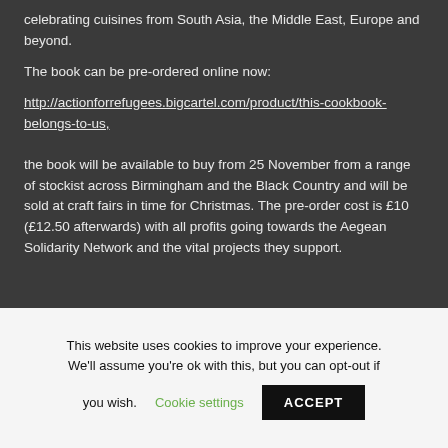celebrating cuisines from South Asia, the Middle East, Europe and beyond.
The book can be pre-ordered online now:
http://actionforrefugees.bigcartel.com/product/this-cookbook-belongs-to-us,
the book will be available to buy from 25 November from a range of stockist across Birmingham and the Black Country and will be sold at craft fairs in time for Christmas. The pre-order cost is £10 (£12.50 afterwards) with all profits going towards the Aegean Solidarity Network and the vital projects they support.
This website uses cookies to improve your experience. We'll assume you're ok with this, but you can opt-out if you wish. Cookie settings ACCEPT